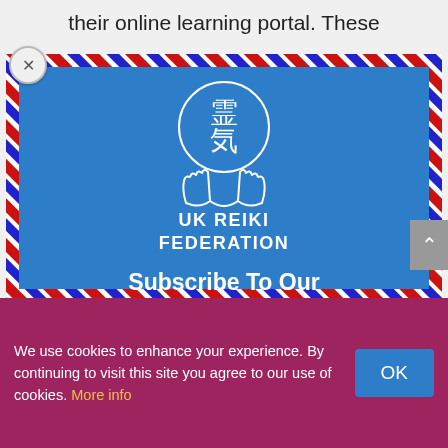their online learning portal. These
[Figure (logo): UK Reiki Federation logo: circle with Japanese kanji characters 霊気, white hands below, text UK REIKI FEDERATION in white on blue background, inside airmail-bordered envelope card]
Subscribe To Our Newsletter
Join our mailing list to receive the latest news and updates from our team.
We use cookies to enhance your experience. By continuing to visit this site you agree to our use of cookies. More info